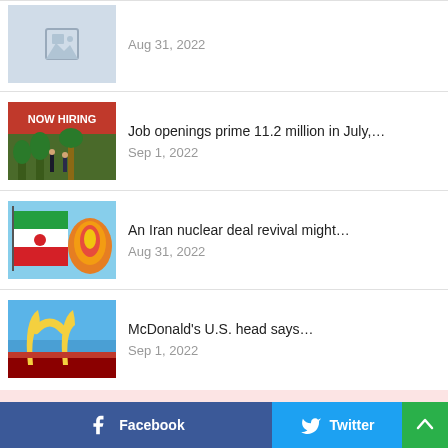[Figure (photo): Placeholder image thumbnail (gray background with image icon)]
Aug 31, 2022
[Figure (photo): Now Hiring sign with people walking in front of building]
Job openings prime 11.2 million in July,…
Sep 1, 2022
[Figure (photo): Iran flag with fire/explosion in background]
An Iran nuclear deal revival might…
Aug 31, 2022
[Figure (photo): McDonald's golden arches sign against blue sky]
McDonald's U.S. head says…
Sep 1, 2022
Facebook  Twitter